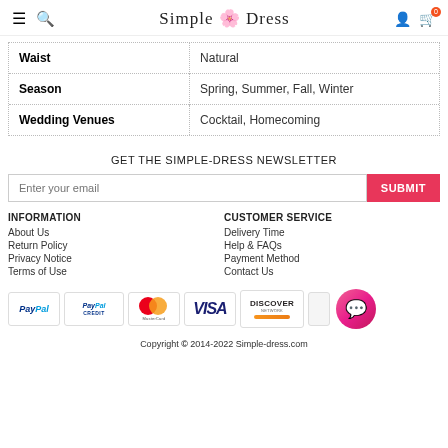Simple Dress
| Attribute | Value |
| --- | --- |
| Waist | Natural |
| Season | Spring, Summer, Fall, Winter |
| Wedding Venues | Cocktail, Homecoming |
GET THE SIMPLE-DRESS NEWSLETTER
Enter your email | SUBMIT
INFORMATION
About Us
Return Policy
Privacy Notice
Terms of Use
CUSTOMER SERVICE
Delivery Time
Help & FAQs
Payment Method
Contact Us
[Figure (logo): Payment method logos: PayPal, PayPal Credit, MasterCard, VISA, Discover]
Copyright © 2014-2022 Simple-dress.com